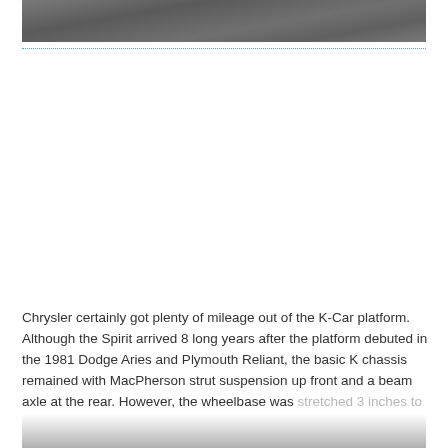[Figure (photo): Top portion of a photograph showing a pavement/concrete surface, partially cropped at top of page]
Chrysler certainly got plenty of mileage out of the K-Car platform. Although the Spirit arrived 8 long years after the platform debuted in the 1981 Dodge Aries and Plymouth Reliant, the basic K chassis remained with MacPherson strut suspension up front and a beam axle at the rear. However, the wheelbase was stretched 3 inches to 103.3 inches and the Spirit was 3 inches taller...
[Figure (photo): Bottom portion of a photograph, partially cropped at bottom of page, appears to show a car]